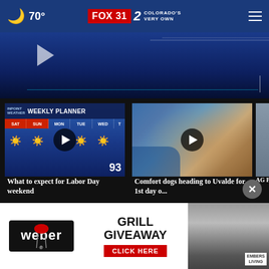🌙 70° — FOX 31 / 2 COLORADO'S VERY OWN
[Figure (screenshot): Hero video thumbnail with play button, weekly weather planner background]
[Figure (screenshot): Video thumbnail: Weekly weather planner with days SAT SUN MON TUE WED]
What to expect for Labor Day weekend
3 hours ago
[Figure (photo): Video thumbnail: person hugging golden/orange dog, comfort dogs story]
Comfort dogs heading to Uvalde for 1st day o...
3 hours ago
[Figure (screenshot): Partial video thumbnail: AG Phi... invest...]
AG Phi... invest...
More Videos ›
[Figure (infographic): Weber GRILL GIVEAWAY CLICK HERE advertisement banner with Weber logo and grill photo]